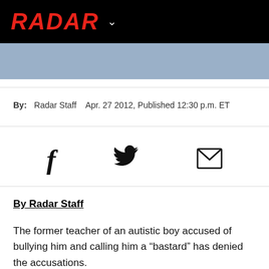RADAR
[Figure (photo): Partial photo of a person wearing a blue/grey shirt, cropped at top of page below navigation bar]
By: Radar Staff   Apr. 27 2012, Published 12:30 p.m. ET
[Figure (infographic): Social sharing icons: Facebook (f), Twitter (bird), Email (envelope)]
By Radar Staff
The former teacher of an autistic boy accused of bullying him and calling him a “bastard” has denied the accusations.